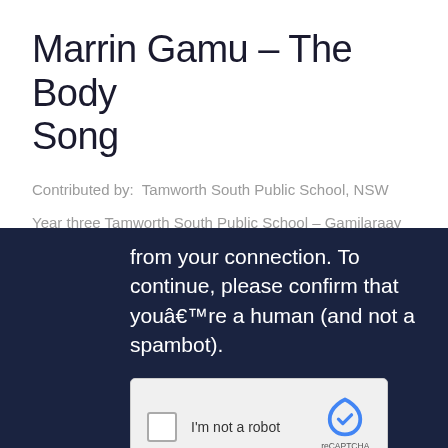Marrin Gamu – The Body Song
Contributed by:  Tamworth South Public School, NSW
Year three Tamworth South Public School – Gamilaraay Language.
[Figure (screenshot): Dark navy background overlay showing a CAPTCHA/bot-detection message: 'from your connection. To continue, please confirm that you're a human (and not a spambot).' with a reCAPTCHA checkbox widget saying 'I'm not a robot' and reCAPTCHA Privacy - Terms branding.]